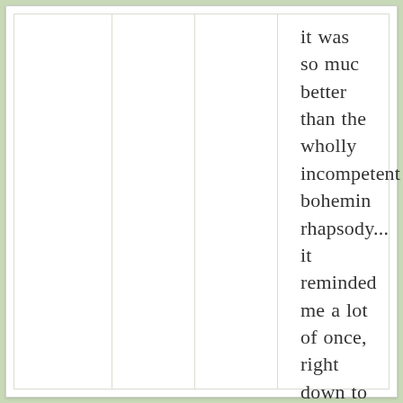it was so muc better than the wholly incompetent bohemin rhapsody... it reminded me a lot of once, right down to the oscar win acceptence performance. im glad green room took the oscar, but viggo should have one the acting award. and glenn close should hav taken best actress.
Like